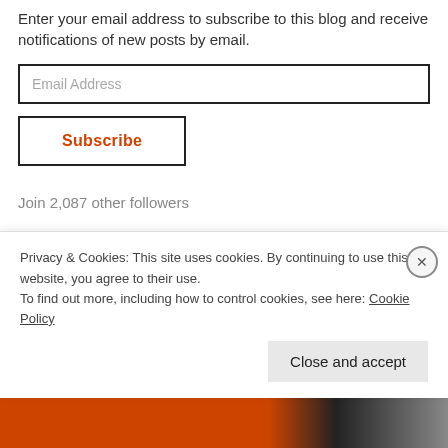Enter your email address to subscribe to this blog and receive notifications of new posts by email.
Email Address
Subscribe
Join 2,087 other followers
The Dead Beat Scroll : BOOK 7!
#TheDeadBeatScroll
Privacy & Cookies: This site uses cookies. By continuing to use this website, you agree to their use. To find out more, including how to control cookies, see here: Cookie Policy
Close and accept